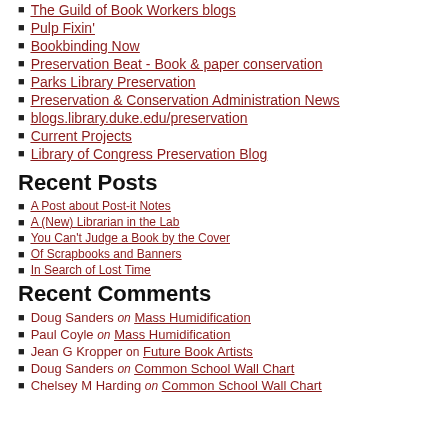The Guild of Book Workers blogs
Pulp Fixin'
Bookbinding Now
Preservation Beat - Book & paper conservation
Parks Library Preservation
Preservation & Conservation Administration News
blogs.library.duke.edu/preservation
Current Projects
Library of Congress Preservation Blog
Recent Posts
A Post about Post-it Notes
A (New) Librarian in the Lab
You Can't Judge a Book by the Cover
Of Scrapbooks and Banners
In Search of Lost Time
Recent Comments
Doug Sanders on Mass Humidification
Paul Coyle on Mass Humidification
Jean G Kropper on Future Book Artists
Doug Sanders on Common School Wall Chart
Chelsey M Harding on Common School Wall Chart